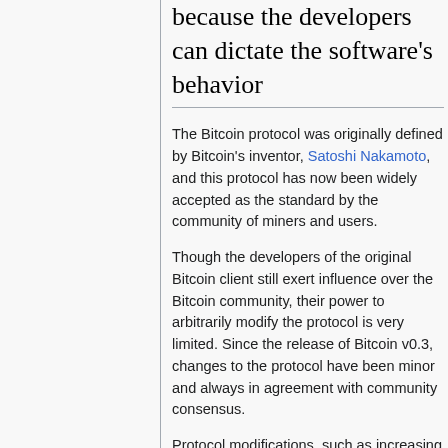because the developers can dictate the software's behavior
The Bitcoin protocol was originally defined by Bitcoin's inventor, Satoshi Nakamoto, and this protocol has now been widely accepted as the standard by the community of miners and users.
Though the developers of the original Bitcoin client still exert influence over the Bitcoin community, their power to arbitrarily modify the protocol is very limited. Since the release of Bitcoin v0.3, changes to the protocol have been minor and always in agreement with community consensus.
Protocol modifications, such as increasing the block award from 25 to 50 BTC, are not compatible with clients